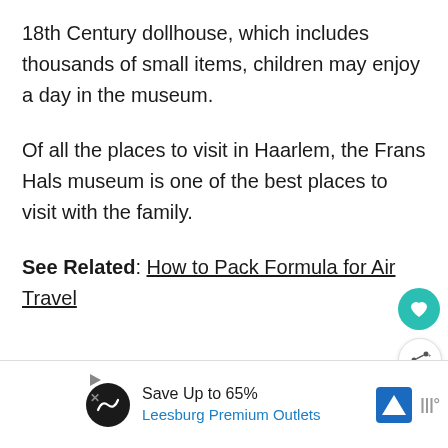18th Century dollhouse, which includes thousands of small items, children may enjoy a day in the museum.
Of all the places to visit in Haarlem, the Frans Hals museum is one of the best places to visit with the family.
See Related: How to Pack Formula for Air Travel
[Figure (other): White content area / ad placeholder region with floating heart and share buttons on the right side]
Save Up to 65% Leesburg Premium Outlets